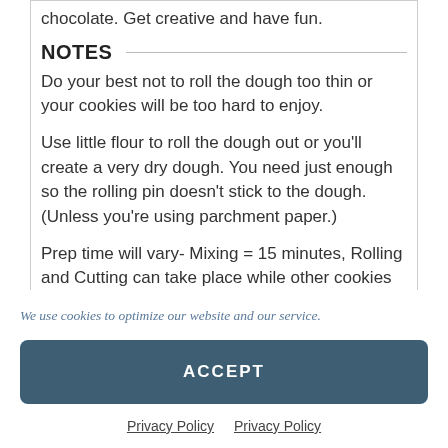chocolate. Get creative and have fun.
NOTES
Do your best not to roll the dough too thin or your cookies will be too hard to enjoy.
Use little flour to roll the dough out or you'll create a very dry dough. You need just enough so the rolling pin doesn't stick to the dough. (Unless you're using parchment paper.)
Prep time will vary- Mixing = 15 minutes, Rolling and Cutting can take place while other cookies
We use cookies to optimize our website and our service.
ACCEPT
Privacy Policy   Privacy Policy